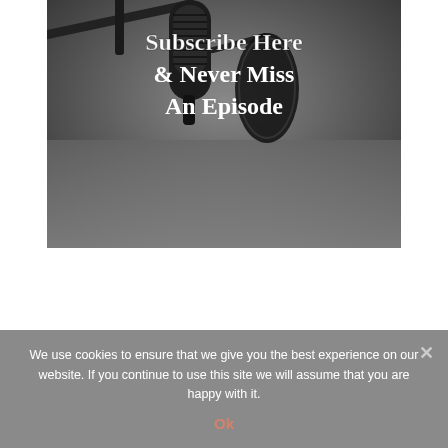[Figure (photo): Black and white photo of a studio condenser microphone with a pop filter, mounted on a boom arm. White bold text overlaid reads: 'Subscribe Here & Never Miss An Episode'.]
We use cookies to ensure that we give you the best experience on our website. If you continue to use this site we will assume that you are happy with it.
Ok